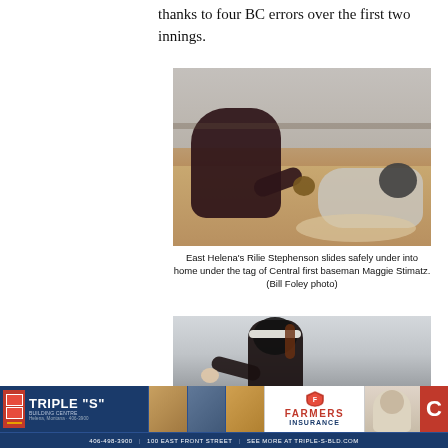thanks to four BC errors over the first two innings.
[Figure (photo): East Helena's Rilie Stephenson slides safely into home base under the tag of Central first baseman Maggie Stimatz. Softball action photo showing one player in dark uniform crouching to tag, other player sliding in cloud of dust.]
East Helena's Rilie Stephenson slides safely under into home under the tag of Central first baseman Maggie Stimatz. (Bill Foley photo)
[Figure (photo): Softball pitcher in dark uniform with face guard, mid-delivery motion, ball visible near the ground. Blurry background showing trees and buildings.]
[Figure (photo): Advertisement banner for Triple S Building Centre and Farmers Insurance at bottom of page.]